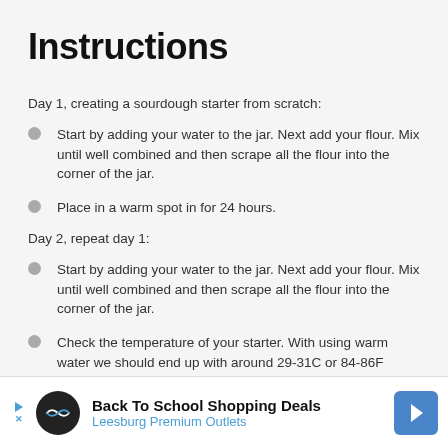Instructions
Day 1, creating a sourdough starter from scratch:
Start by adding your water to the jar.  Next add your flour. Mix until well combined and then scrape all the flour into the corner of the jar.
Place in a warm spot in for 24 hours.
Day 2, repeat day 1:
Start by adding your water to the jar.  Next add your flour. Mix until well combined and then scrape all the flour into the corner of the jar.
Check the temperature of your starter.  With using warm water we should end up with around 29-31C or 84-86F which is a great temperature for fermentation.
[Figure (other): Advertisement banner: Back To School Shopping Deals - Leesburg Premium Outlets]